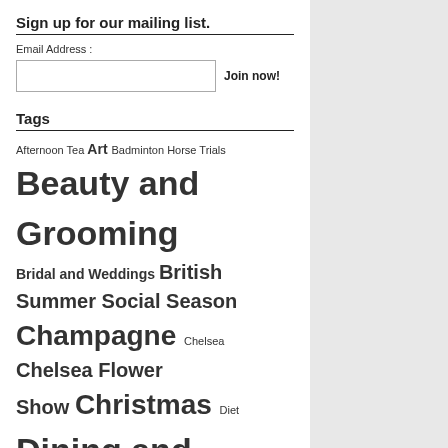Sign up for our mailing list.
Email Address :
Join now!
Tags
Afternoon Tea Art Badminton Horse Trials Beauty and Grooming Bridal and Weddings British Summer Social Season Champagne Chelsea Chelsea Flower Show Christmas Diet Dining and Drinks Events Fashion Featured Fitness Hair Harrods Health James Haskell Jo Malone Jo Malone London Katie Ann Lamb Laura Toogood London Luxury Luxury Travel Natasha Eddery Patricia